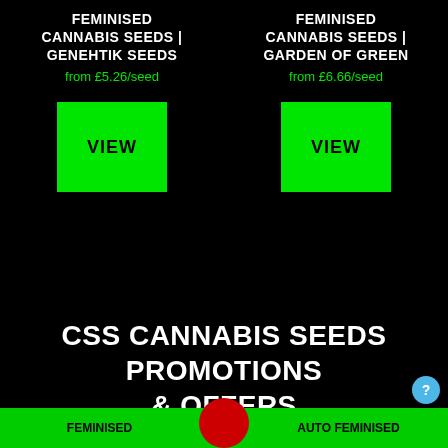FEMINISED CANNABIS SEEDS | GENEHTIK SEEDS
from £5.26/seed
FEMINISED CANNABIS SEEDS | GARDEN OF GREEN
from £6.66/seed
VIEW
VIEW
CSS CANNABIS SEEDS PROMOTIONS & OFFERS
FEMINISED
AUTO FEMINISED